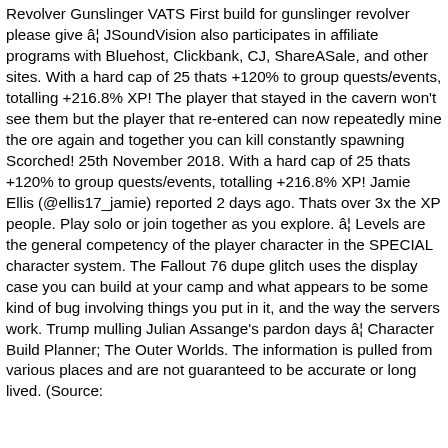Revolver Gunslinger VATS First build for gunslinger revolver please give â¦ JSoundVision also participates in affiliate programs with Bluehost, Clickbank, CJ, ShareASale, and other sites. With a hard cap of 25 thats +120% to group quests/events, totalling +216.8% XP! The player that stayed in the cavern won't see them but the player that re-entered can now repeatedly mine the ore again and together you can kill constantly spawning Scorched! 25th November 2018. With a hard cap of 25 thats +120% to group quests/events, totalling +216.8% XP! Jamie Ellis (@ellis17_jamie) reported 2 days ago. Thats over 3x the XP people. Play solo or join together as you explore. â¦ Levels are the general competency of the player character in the SPECIAL character system. The Fallout 76 dupe glitch uses the display case you can build at your camp and what appears to be some kind of bug involving things you put in it, and the way the servers work. Trump mulling Julian Assange's pardon days â¦ Character Build Planner; The Outer Worlds. The information is pulled from various places and are not guaranteed to be accurate or long lived. (Source: